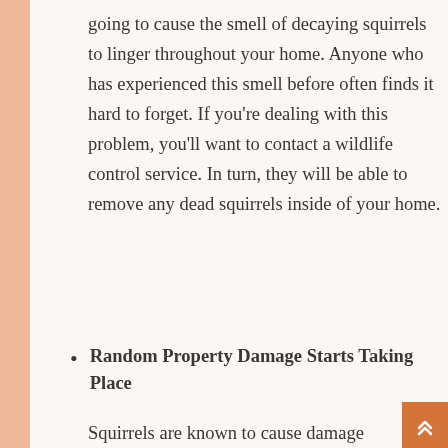going to cause the smell of decaying squirrels to linger throughout your home. Anyone who has experienced this smell before often finds it hard to forget. If you're dealing with this problem, you'll want to contact a wildlife control service. In turn, they will be able to remove any dead squirrels inside of your home.
Random Property Damage Starts Taking Place
Squirrels are known to cause damage